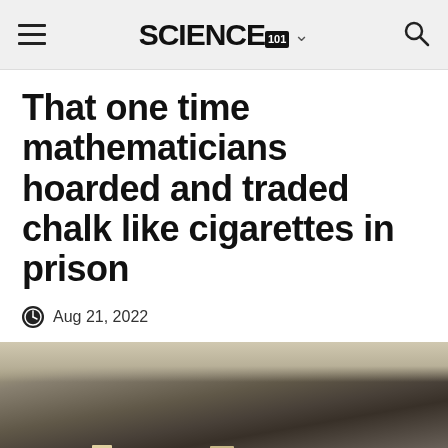SCIENCE101
That one time mathematicians hoarded and traded chalk like cigarettes in prison
Aug 21, 2022
[Figure (photo): A dark shelf or storage area containing boxes and books, with what appears to be colored folders and supplies stored inside.]